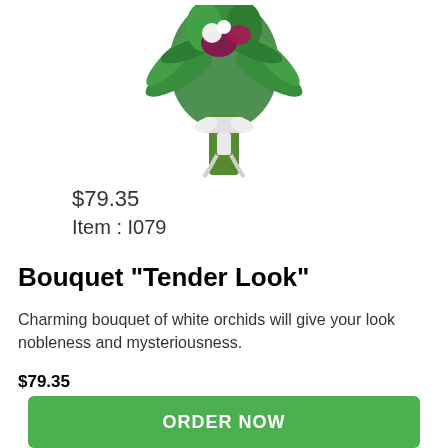[Figure (photo): A floral bouquet with green leaves and white/pink flowers tied with a white ribbon, shown on white background.]
$79.35
Item : I079
Bouquet "Tender Look"
Charming bouquet of white orchids will give your look nobleness and mysteriousness.
$79.35
ORDER NOW